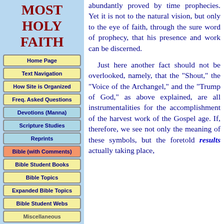MOST HOLY FAITH
Home Page
Text Navigation
How Site is Organized
Freq. Asked Questions
Devotions (Manna)
Scripture Studies
Reprints
Bible (with Comments)
Bible Student Books
Bible Topics
Expanded Bible Topics
Bible Student Webs
Miscellaneous
abundantly proved by time prophecies. Yet it is not to the natural vision, but only to the eye of faith, through the sure word of prophecy, that his presence and work can be discerned.
Just here another fact should not be overlooked, namely, that the "Shout," the "Voice of the Archangel," and the "Trump of God," as above explained, are all instrumentalities for the accomplishment of the harvest work of the Gospel age. If, therefore, we see not only the meaning of these symbols, but the foretold results actually taking place,